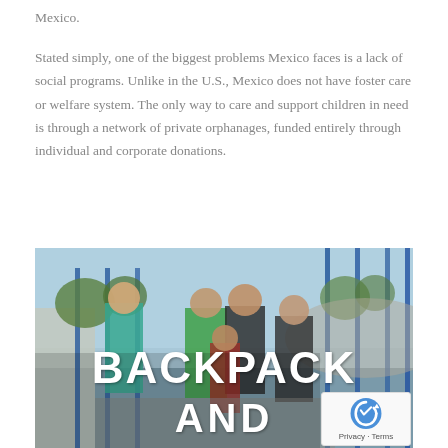Mexico.
Stated simply, one of the biggest problems Mexico faces is a lack of social programs. Unlike in the U.S., Mexico does not have foster care or welfare system. The only way to care and support children in need is through a network of private orphanages, funded entirely through individual and corporate donations.
[Figure (photo): Group of boys standing together outdoors near a blue metal fence/gate structure, with text overlay reading 'BACKPACK AND' in large white bold letters. A reCAPTCHA badge appears in the bottom right corner.]